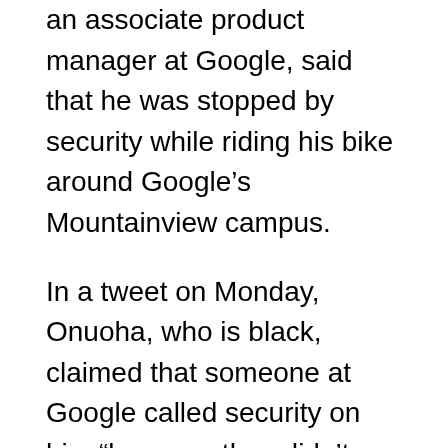an associate product manager at Google, said that he was stopped by security while riding his bike around Google's Mountainview campus.
In a tweet on Monday, Onuoha, who is black, claimed that someone at Google called security on him “because they didn’t believe I was an employee.” He said he was escorted by two security guards who later confiscated his ID badge and told him to call security if he had a problem with it.
Another Google employee responded to Onuoha’s tweets claiming that he too had been a victim of racial discrimination while employed